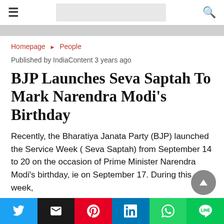≡  [logo area]  🔍
Homepage ▶ People
Published by IndiaContent 3 years ago
BJP Launches Seva Saptah To Mark Narendra Modi's Birthday
Recently, the Bharatiya Janata Party (BJP) launched the Service Week ( Seva Saptah) from September 14 to 20 on the occasion of Prime Minister Narendra Modi's birthday, ie on September 17. During this week,
Twitter | Email | Pinterest | LinkedIn | WhatsApp | LINE